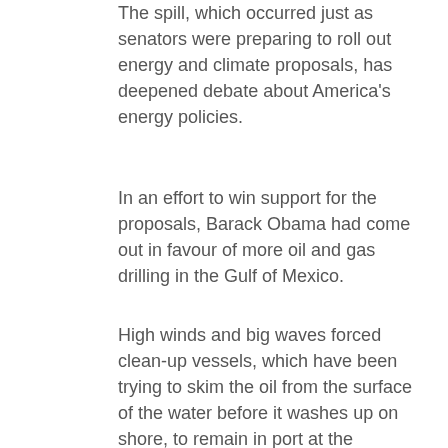The spill, which occurred just as senators were preparing to roll out energy and climate proposals, has deepened debate about America's energy policies.
In an effort to win support for the proposals, Barack Obama had come out in favour of more oil and gas drilling in the Gulf of Mexico.
High winds and big waves forced clean-up vessels, which have been trying to skim the oil from the surface of the water before it washes up on shore, to remain in port at the weekend.
But Mary Landry, the coast guard commander, insisted the four states that lie in the path of the slick would have ample warning to protect fragile wetlands. Forecasts suggest the oil will make landfall on Thursday.
The plan put into operation yesterday called for four underwater robots to dive 1,500 metres